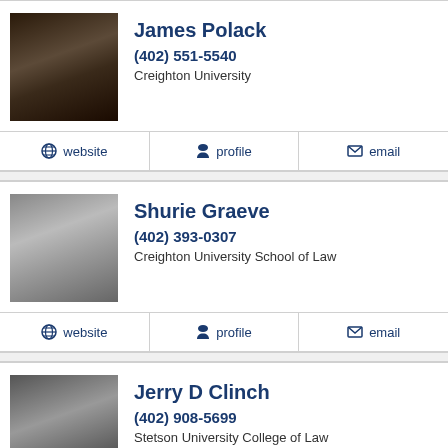[Figure (photo): Headshot of James Polack, man with glasses and beard in suit]
James Polack
(402) 551-5540
Creighton University
website  profile  email
[Figure (photo): Headshot of Shurie Graeve, blonde woman smiling]
Shurie Graeve
(402) 393-0307
Creighton University School of Law
website  profile  email
[Figure (photo): Headshot of Jerry D Clinch, bald man in suit]
Jerry D Clinch
(402) 908-5699
Stetson University College of Law